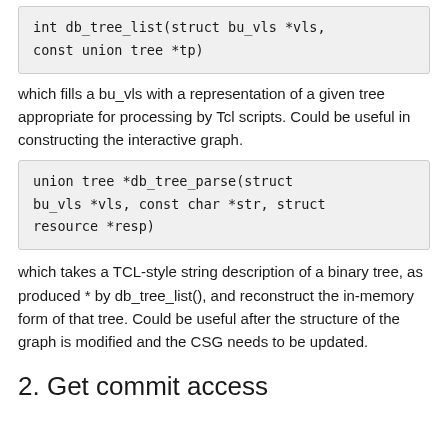[Figure (other): Code block showing: int db_tree_list(struct bu_vls *vls, const union tree *tp)]
which fills a bu_vls with a representation of a given tree appropriate for processing by Tcl scripts. Could be useful in constructing the interactive graph.
[Figure (other): Code block showing: union tree *db_tree_parse(struct bu_vls *vls, const char *str, struct resource *resp)]
which takes a TCL-style string description of a binary tree, as produced * by db_tree_list(), and reconstruct the in-memory form of that tree. Could be useful after the structure of the graph is modified and the CSG needs to be updated.
2. Get commit access